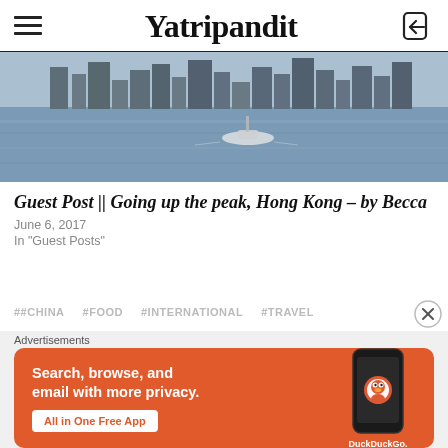Yatripandit
[Figure (photo): Photograph of Hong Kong harbor with water, a boat, and city skyline in the background]
Guest Post || Going up the peak, Hong Kong – by Becca
June 6, 2017
In "Guest Posts"
##CHINA  #FOOD  #INTERNATIONAL  #TRAVEL
[Figure (screenshot): DuckDuckGo advertisement: Search, browse, and email with more privacy. All in One Free App. Shows DuckDuckGo logo on a phone.]